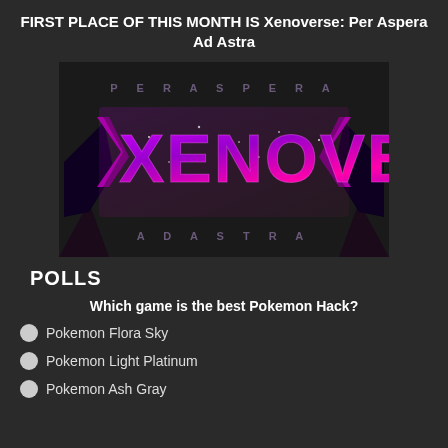FIRST PLACE OF THIS MONTH IS Xenoverse: Per Aspera Ad Astra
[Figure (logo): Xenoverse: Per Aspera Ad Astra game logo with purple and pink galaxy-themed stylized text reading XENOVERSE, with PER ASPERA above and AD ASTRA below in smaller letters, on a dark background with angular decorative elements]
POLLS
Which game is the best Pokemon Hack?
Pokemon Flora Sky
Pokemon Light Platinum
Pokemon Ash Gray